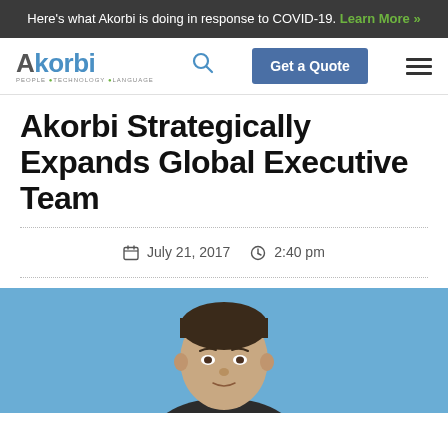Here's what Akorbi is doing in response to COVID-19. Learn More »
[Figure (logo): Akorbi logo with tagline PEOPLE TECHNOLOGY LANGUAGE]
Akorbi Strategically Expands Global Executive Team
July 21, 2017   2:40 pm
[Figure (photo): Headshot photo of a man against a blue background]